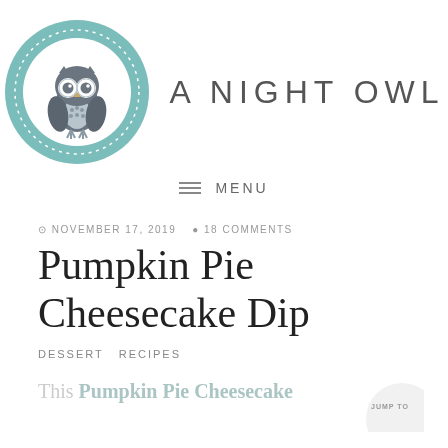[Figure (logo): A Night Owl blog logo: teal circular badge with an illustrated owl in the center, dotted ring border, paired with the text 'A NIGHT OWL']
≡  MENU
⊙ NOVEMBER 17, 2019   ● 18 COMMENTS
Pumpkin Pie Cheesecake Dip
DESSERT  RECIPES
This Pumpkin Pie Cheesecake